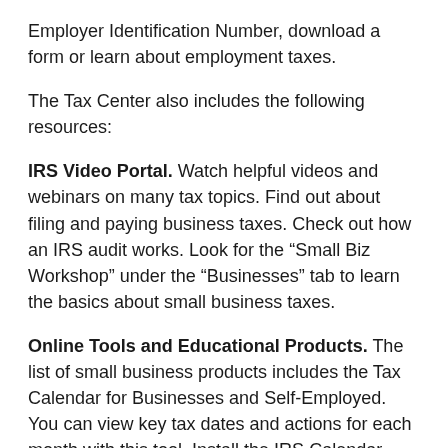Employer Identification Number, download a form or learn about employment taxes.
The Tax Center also includes the following resources:
IRS Video Portal. Watch helpful videos and webinars on many tax topics. Find out about filing and paying business taxes. Check out how an IRS audit works. Look for the “Small Biz Workshop” under the “Businesses” tab to learn the basics about small business taxes.
Online Tools and Educational Products. The list of small business products includes the Tax Calendar for Businesses and Self-Employed. You can view key tax dates and actions for each month with this tool. Install the IRS Calendar Connector tool on your computer to get important tax dates and tips, even when you’re offline.
Small Business Events. The IRS holds small business